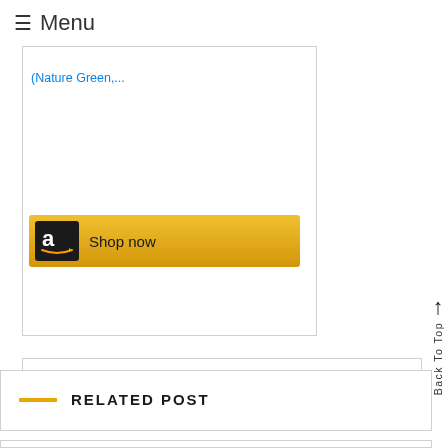☰ Menu
[Figure (screenshot): Amazon shopping widget showing a product link '(Nature Green,...' in blue text and a 'Shop now' button with Amazon logo on gold/yellow background]
Back To Top
RELATED POST